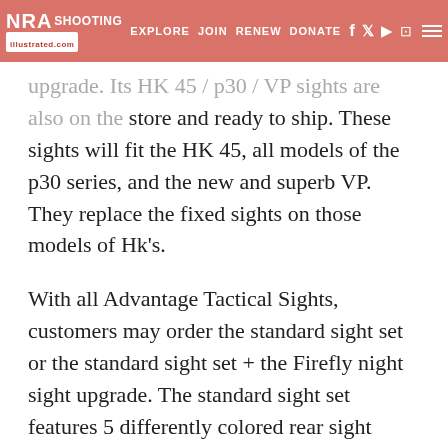NRA SHOOTING ILLUSTRATED | EXPLORE | JOIN | RENEW | DONATE | [social icons]
upgrade. Its HK 45 / p30 / VP sights are also on the store and ready to ship. These sights will fit the HK 45, all models of the p30 series, and the new and superb VP. They replace the fixed sights on those models of Hk's.
With all Advantage Tactical Sights, customers may order the standard sight set or the standard sight set + the Firefly night sight upgrade. The standard sight set features 5 differently colored rear sight inserts, 5 differently colored front sights, installation and adjustment hex key, Glock (only) front sight tool, and up to .044" of elevation shim.
The Firefly night sight upgrade sight set is the standard sight set and a packet of two Fireflies - one